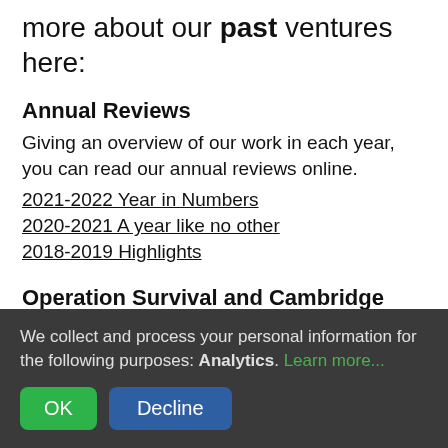more about our past ventures here:
Annual Reviews
Giving an overview of our work in each year, you can read our annual reviews online.
2021-2022 Year in Numbers
2020-2021 A year like no other
2018-2019 Highlights
Operation Survival and Cambridge Codebreakers: The Last Secret
We partnered with Fire Hazard Games to
We collect and process your personal information for the following purposes: Analytics. Learn more...
OK   Decline